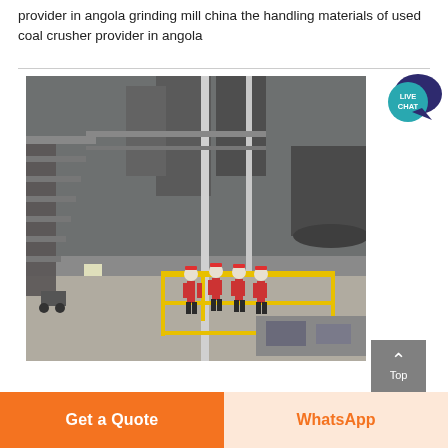provider in angola grinding mill china the handling materials of used coal crusher provider in angola
[Figure (photo): Industrial facility interior showing large machinery, silos, and workers in red hard hats and safety gear standing near yellow guardrails on a concrete floor]
Get a Quote
WhatsApp